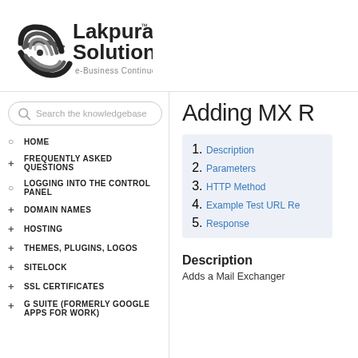[Figure (logo): Lakpura Solutions e-Business Continues logo with circular wave graphic]
[Figure (other): Search the knowledgebase input box]
HOME
FREQUENTLY ASKED QUESTIONS
LOGGING INTO THE CONTROL PANEL
DOMAIN NAMES
HOSTING
THEMES, PLUGINS, LOGOS
SITELOCK
SSL CERTIFICATES
G SUITE (FORMERLY GOOGLE APPS FOR WORK)
Adding MX R
1. Description
2. Parameters
3. HTTP Method
4. Example Test URL Re
5. Response
Description
Adds a Mail Exchanger